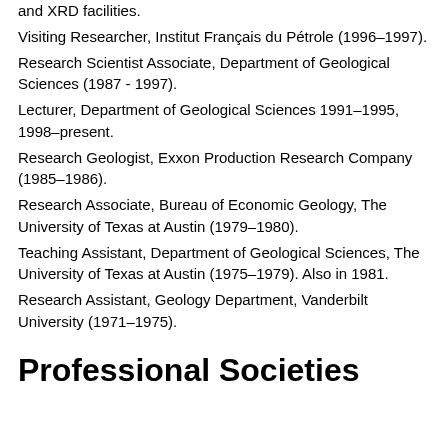and XRD facilities.
Visiting Researcher, Institut Français du Pétrole (1996–1997).
Research Scientist Associate, Department of Geological Sciences (1987 - 1997).
Lecturer, Department of Geological Sciences 1991–1995, 1998–present.
Research Geologist, Exxon Production Research Company (1985–1986).
Research Associate, Bureau of Economic Geology, The University of Texas at Austin (1979–1980).
Teaching Assistant, Department of Geological Sciences, The University of Texas at Austin (1975–1979). Also in 1981.
Research Assistant, Geology Department, Vanderbilt University (1971–1975).
Professional Societies